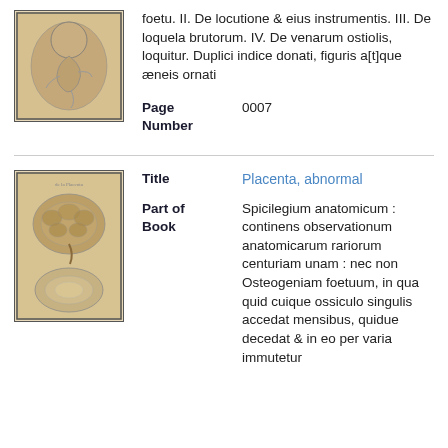[Figure (illustration): Anatomical illustration of a fetus in utero, historical engraving style]
foetu. II. De locutione & eius instrumentis. III. De loquela brutorum. IV. De venarum ostiolis, loquitur. Duplici indice donati, figuris a[t]que æneis ornati
Page Number
0007
[Figure (illustration): Anatomical illustration of placenta, historical engraving style]
Title
Placenta, abnormal
Part of Book
Spicilegium anatomicum : continens observationum anatomicarum rariorum centuriam unam : nec non Osteogeniam foetuum, in qua quid cuique ossiculo singulis accedat mensibus, quidue decedat & in eo per varia immutetur